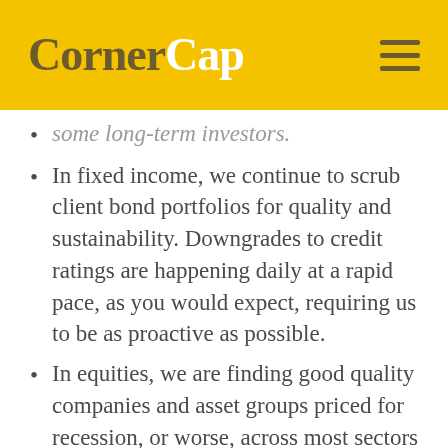CornerCap
some long-term investors.
In fixed income, we continue to scrub client bond portfolios for quality and sustainability. Downgrades to credit ratings are happening daily at a rapid pace, as you would expect, requiring us to be as proactive as possible.
In equities, we are finding good quality companies and asset groups priced for recession, or worse, across most sectors and industries. We see best opportunities in cyclical stocks (those tied to